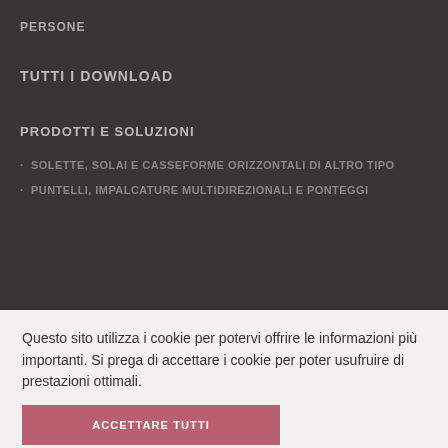PERSONE
TUTTI I DOWNLOAD
PRODOTTI E SOLUZIONI
· SOLETTE, SOLAI E CASSEFORME ORIZZONTALI DI ALTRO TIPO
· PUNTELLI, IMPALCATURE MULTIDIREZIONALI E PONTEGGI
Questo sito utilizza i cookie per potervi offrire le informazioni più importanti. Si prega di accettare i cookie per poter usufruire di prestazioni ottimali.
ACCETTARE TUTTI
Configurazione dei cookie
Leggere di più